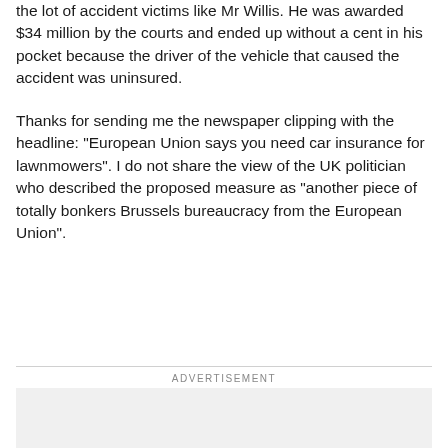the lot of accident victims like Mr Willis. He was awarded $34 million by the courts and ended up without a cent in his pocket because the driver of the vehicle that caused the accident was uninsured.
Thanks for sending me the newspaper clipping with the headline: "European Union says you need car insurance for lawnmowers". I do not share the view of the UK politician who described the proposed measure as "another piece of totally bonkers Brussels bureaucracy from the European Union".
ADVERTISEMENT